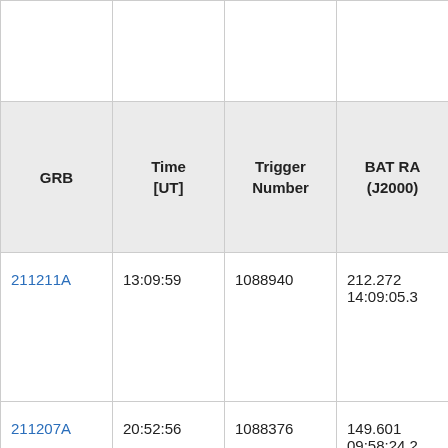| GRB | Time [UT] | Trigger Number | BAT RA (J2000) |
| --- | --- | --- | --- |
|  |  |  |  |
| 211211A | 13:09:59 | 1088940 | 212.272
14:09:05.3 |
| 211207A | 20:52:56 | 1088376 | 149.601
09:58:24.2 |